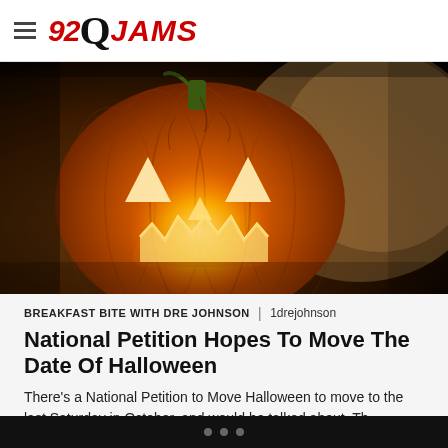92Q JAMS
[Figure (photo): A glowing jack-o-lantern pumpkin carved with a sinister smile, lit from within by candlelight, against a warm brown background]
BREAKFAST BITE WITH DRE JOHNSON | 1drejohnson
National Petition Hopes To Move The Date Of Halloween
There's a National Petition to Move Halloween to move to the last Saturday in October, and would be talked about. Th...